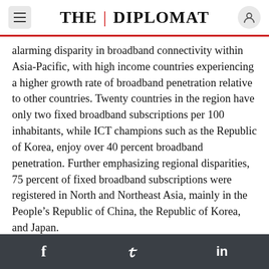THE DIPLOMAT
alarming disparity in broadband connectivity within Asia-Pacific, with high income countries experiencing a higher growth rate of broadband penetration relative to other countries. Twenty countries in the region have only two fixed broadband subscriptions per 100 inhabitants, while ICT champions such as the Republic of Korea, enjoy over 40 percent broadband penetration. Further emphasizing regional disparities, 75 percent of fixed broadband subscriptions were registered in North and Northeast Asia, mainly in the People’s Republic of China, the Republic of Korea, and Japan.
Broadband connectivity, especially reliable,
f  𝒟  in